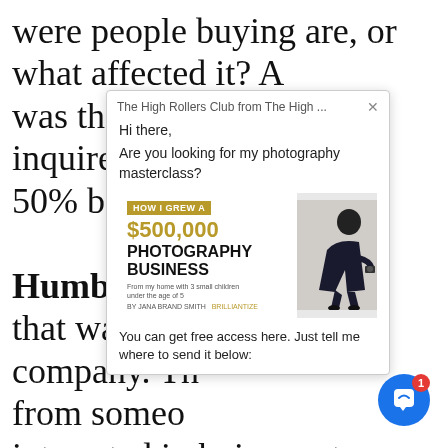were people buying are, or what affected it? A was that out inquired for d 50% bought w
Humberto G that wasn't b company. Th from someo interested in knives set, they weren't interested in, you know appliances. They were basically
[Figure (screenshot): A popup chat widget overlay showing 'The High Rollers Club from The High ...' with a message 'Hi there, Are you looking for my photography masterclass?' and an image of a book/course '$500,000 PHOTOGRAPHY BUSINESS' with a woman photographer, followed by text 'You can get free access here. Just tell me where to send it below:']